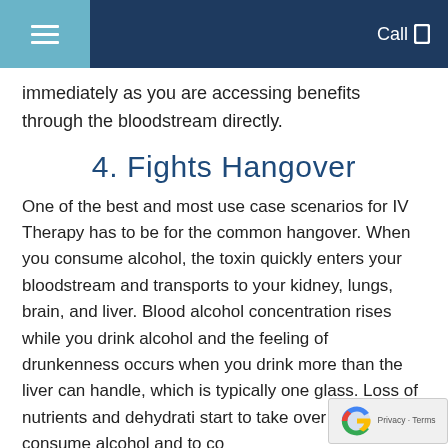Call
immediately as you are accessing benefits through the bloodstream directly.
4. Fights Hangover
One of the best and most use case scenarios for IV Therapy has to be for the common hangover. When you consume alcohol, the toxin quickly enters your bloodstream and transports to your kidney, lungs, brain, and liver. Blood alcohol concentration rises while you drink alcohol and the feeling of drunkenness occurs when you drink more than the liver can handle, which is typically one glass. Loss of nutrients and dehydrati start to take over as you consume alcohol and to co